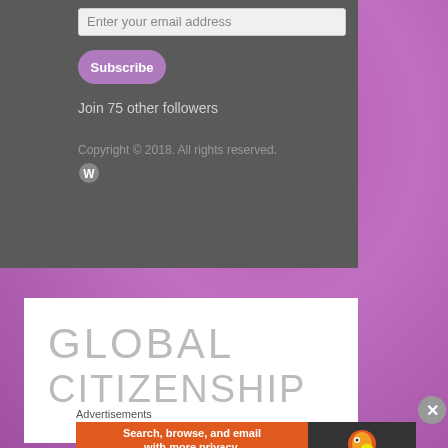[Figure (screenshot): Email subscription input field showing placeholder text 'Enter your email address']
[Figure (screenshot): Purple rounded Subscribe button]
Join 75 other followers
Copyright © 2018. All rights reserved.
[Figure (logo): WordPress logo icon (W in circle)]
GLOBAL CITIZENSHIP
Advertisements
[Figure (screenshot): DuckDuckGo advertisement banner: 'Search, browse, and email with more privacy. All in One Free App' with DuckDuckGo logo on dark background]